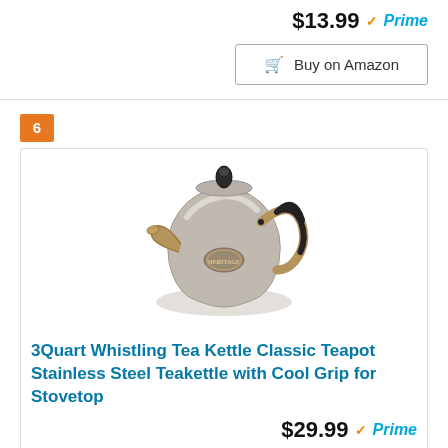$13.99 Prime
Buy on Amazon
6
[Figure (photo): A stainless steel whistling tea kettle with copper/bronze colored handle and spout accents, black grip on handle, and a decorative emblem on the body.]
3Quart Whistling Tea Kettle Classic Teapot Stainless Steel Teakettle with Cool Grip for Stovetop
$29.99 Prime